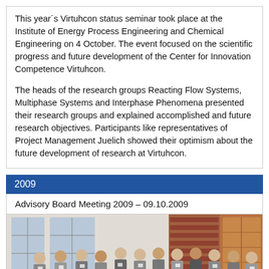This year´s Virtuhcon status seminar took place at the Institute of Energy Process Engineering and Chemical Engineering on 4 October. The event focused on the scientific progress and future development of the Center for Innovation Competence Virtuhcon.

The heads of the research groups Reacting Flow Systems, Multiphase Systems and Interphase Phenomena presented their research groups and explained accomplished and future research objectives. Participants like representatives of Project Management Juelich showed their optimism about the future development of research at Virtuhcon.
2009
Advisory Board Meeting 2009 – 09.10.2009
[Figure (photo): Group photo of approximately 15 men in suits standing outside a building with brick facade and windows.]